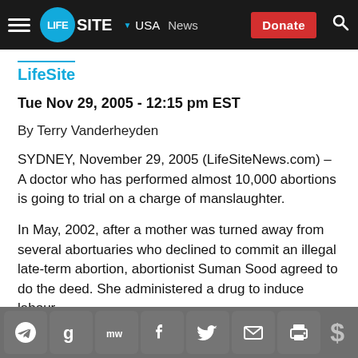LifeSite — USA News — Donate
LifeSite
Tue Nov 29, 2005 - 12:15 pm EST
By Terry Vanderheyden
SYDNEY, November 29, 2005 (LifeSiteNews.com) – A doctor who has performed almost 10,000 abortions is going to trial on a charge of manslaughter.
In May, 2002, after a mother was turned away from several abortuaries who declined to commit an illegal late-term abortion, abortionist Suman Sood agreed to do the deed. She administered a drug to induce labour
Share icons: Telegram, Google, MeWe, Facebook, Twitter, Email, Print, Donate